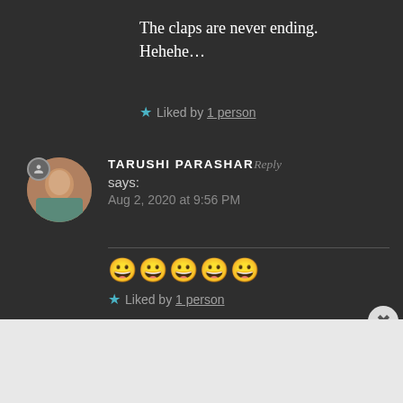The claps are never ending. Hehehe…
★ Liked by 1 person
TARUSHI PARASHAR Reply says: Aug 2, 2020 at 9:56 PM
😀😀😀😀😀
★ Liked by 1 person
Advertisements
[Figure (screenshot): WordPress.com advertisement banner: 'Simplified pricing for everything you need.' with WordPress.com logo]